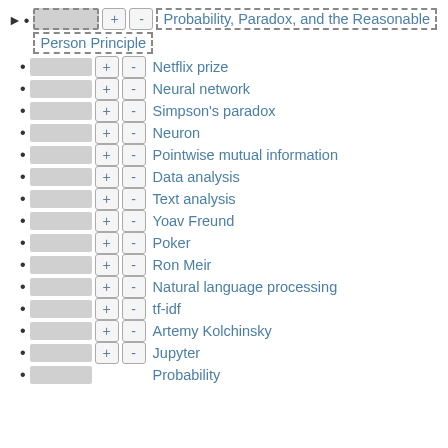Probability, Paradox, and the Reasonable Person Principle
Netflix prize
Neural network
Simpson's paradox
Neuron
Pointwise mutual information
Data analysis
Text analysis
Yoav Freund
Poker
Ron Meir
Natural language processing
tf-idf
Artemy Kolchinsky
Jupyter
Probability